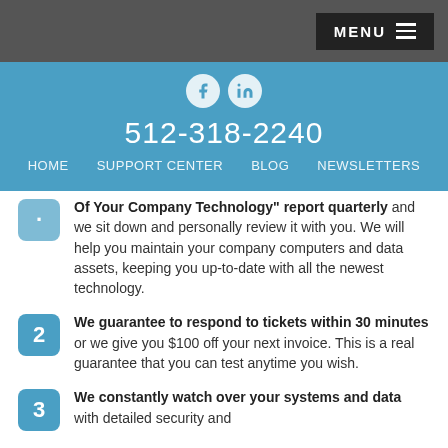MENU
[Figure (other): Blue header section with Facebook and LinkedIn social icons, phone number 512-318-2240, and navigation links: HOME, SUPPORT CENTER, BLOG, NEWSLETTERS]
Of Your Company Technology" report quarterly and we sit down and personally review it with you. We will help you maintain your company computers and data assets, keeping you up-to-date with all the newest technology.
We guarantee to respond to tickets within 30 minutes or we give you $100 off your next invoice. This is a real guarantee that you can test anytime you wish.
We constantly watch over your systems and data with detailed security and